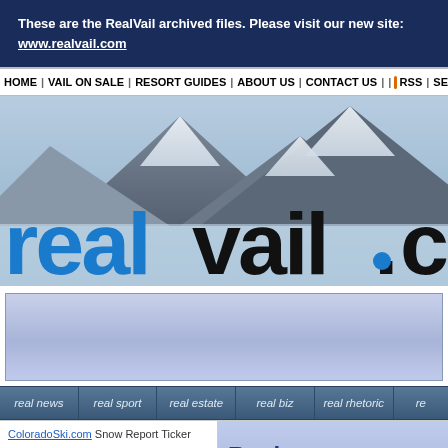These are the RealVail archived files. Please visit our new site: www.realvail.com
HOME | VAIL ON SALE | RESORT GUIDES | ABOUT US | CONTACT US | | RSS | SE
[Figure (photo): RealVail.com website header with mountain background showing 'realvail.co' text logo in blue and black over snowy mountain peaks]
[Figure (other): Light blue/purple advertisement or content placeholder box]
real news | real sport | real estate | real biz | real rhetoric | re
ColoradoSki.com Snow Report Ticker
Real Vail's forum f
Adding injury to injury